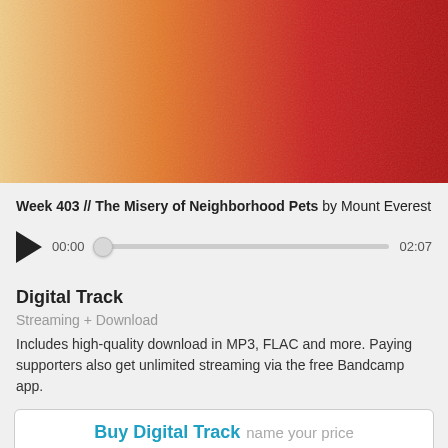[Figure (illustration): Album artwork with a gradient from light orange/yellow on the left to deep red on the right, with a textured surface.]
Week 403 // The Misery of Neighborhood Pets by Mount Everest
[Figure (other): Audio player with play button, time display showing 00:00, scrubber bar, and end time 02:07]
Digital Track
Streaming + Download
Includes high-quality download in MP3, FLAC and more. Paying supporters also get unlimited streaming via the free Bandcamp app.
Buy Digital Track  name your price